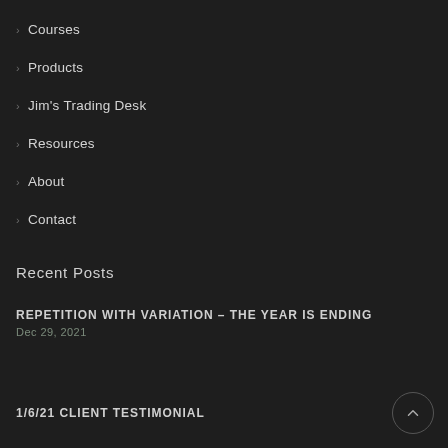Courses
Products
Jim's Trading Desk
Resources
About
Contact
Recent Posts
REPETITION WITH VARIATION – THE YEAR IS ENDING
Dec 29, 2021
1/6/21 CLIENT TESTIMONIAL